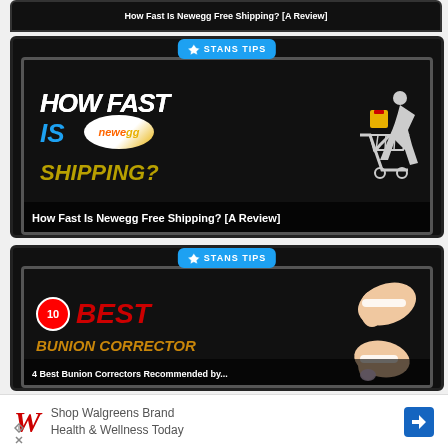[Figure (screenshot): Partial top card, dark background with white text partially visible]
[Figure (screenshot): Stan's Tips thumbnail for Newegg Free Shipping review. Dark background with text HOW FAST IS NEWEGG SHIPPING? and shopping cart illustration. Badge reads STANS TIPS.]
How Fast Is Newegg Free Shipping? [A Review]
[Figure (screenshot): Stan's Tips thumbnail for 10 Best Bunion Corrector. Dark background with 10 in red circle, BEST in red text, BUNION CORRECTOR in gold/orange text, and foot/bunion corrector product image on right.]
[Figure (advertisement): Walgreens ad: Shop Walgreens Brand Health & Wellness Today, with red W logo and blue diamond arrow icon.]